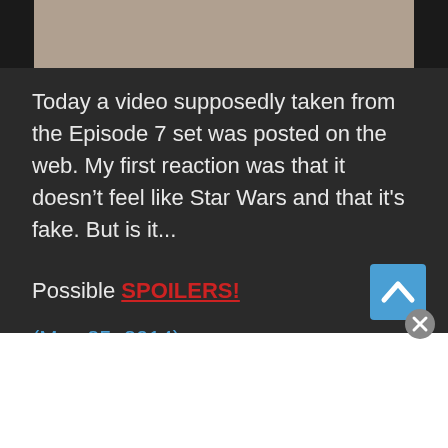[Figure (photo): Partial photo of a person at the top of the page, cropped, showing face/hair area on dark background]
Today a video supposedly taken from the Episode 7 set was posted on the web. My first reaction was that it doesn't feel like Star Wars and that it's fake. But is it...
Possible SPOILERS!
(May 25, 2014)
First I have to warn you that there might be some spoilers ahead.